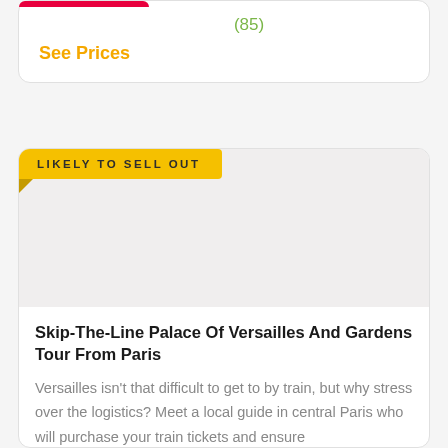(85)
See Prices
LIKELY TO SELL OUT
Skip-The-Line Palace Of Versailles And Gardens Tour From Paris
Versailles isn’t that difficult to get to by train, but why stress over the logistics? Meet a local guide in central Paris who will purchase your train tickets and ensure